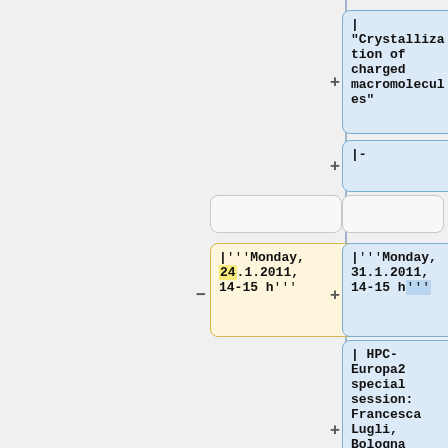[Figure (screenshot): Wiki diff editor view showing two columns of wiki markup boxes. Left (yellow, removed): |'''Monday, 24.1.2011, 14-15 h'''. Right (blue, added) boxes include: | "Crystallization of charged macromolecules", |-, empty boxes, |'''Monday, 31.1.2011, 14-15 h''', and | HPC-Europa2 special session: Francesca Lugli, Bologna University. Plus and minus icons indicate additions and removals.]